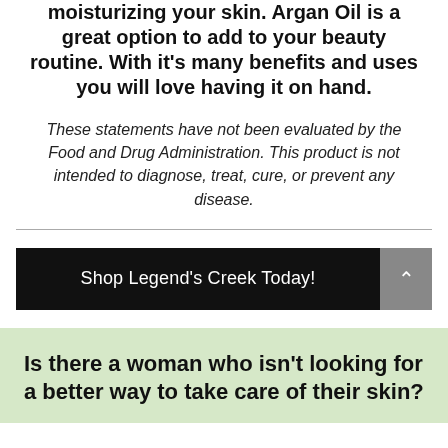moisturizing your skin. Argan Oil is a great option to add to your beauty routine. With it's many benefits and uses you will love having it on hand.
These statements have not been evaluated by the Food and Drug Administration. This product is not intended to diagnose, treat, cure, or prevent any disease.
Shop Legend's Creek Today!
Is there a woman who isn't looking for a better way to take care of their skin?